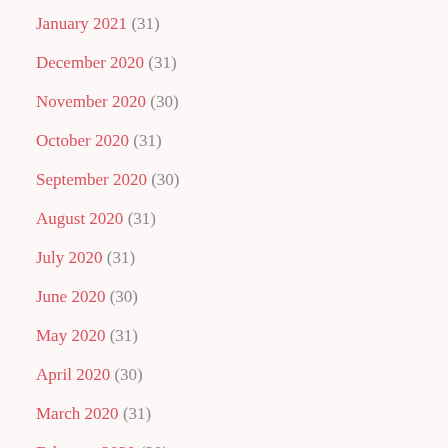January 2021 (31)
December 2020 (31)
November 2020 (30)
October 2020 (31)
September 2020 (30)
August 2020 (31)
July 2020 (31)
June 2020 (30)
May 2020 (31)
April 2020 (30)
March 2020 (31)
February 2020 (29)
January 2020 (31)
December 2019 (31)